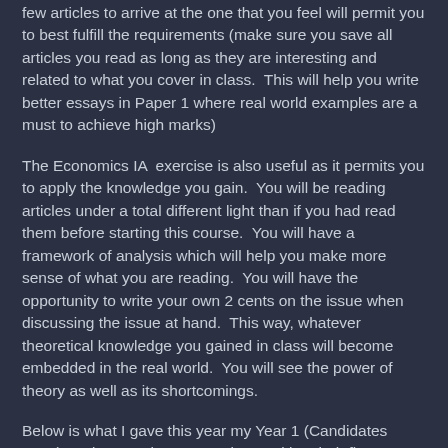few articles to arrive at the one that you feel will permit you to best fulfill the requirements (make sure you save all articles you read as long as they are interesting and related to what you cover in class.  This will help you write better essays in Paper 1 where real world examples are a must to achieve high marks)
The Economics IA  exercise is also useful as it permits you to apply the knowledge you gain.  You will be reading articles under a total different light than if you had read them before starting this course.  You will have a framework of analysis which will help you make more sense of what you are reading.  You will have the opportunity to write your own 2 cents on the issue when discussing the issue at hand.  This way, whatever theoretical knowledge you gained in class will become embedded in the real world.  You will see the power of theory as well as its shortcomings.
Below is what I gave this year my Year 1 (Candidates 2019) students on how to go about writing their first commentary.  Hopefully, these notes could be useful for students all over the world who are taking IB Economics (Higher and Standard level).